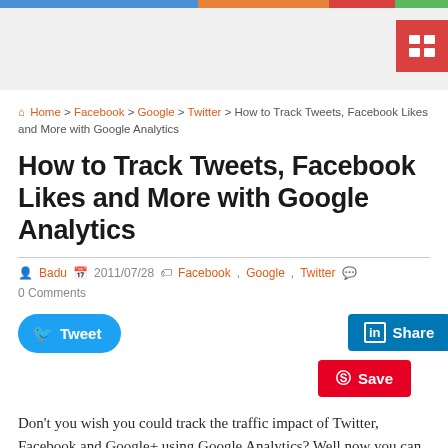Top colored navigation bar with menu icon
Home > Facebook > Google > Twitter > How to Track Tweets, Facebook Likes and More with Google Analytics
How to Track Tweets, Facebook Likes and More with Google Analytics
Badu  2011/07/28  Facebook, Google, Twitter  0 Comments
[Figure (other): Tweet, LinkedIn Share, and Pinterest Save social sharing buttons]
Don't you wish you could track the traffic impact of Twitter, Facebook and Google+ using Google Analytics? Well now you can. Keep reading to learn how.
Google's getting social in a big way.